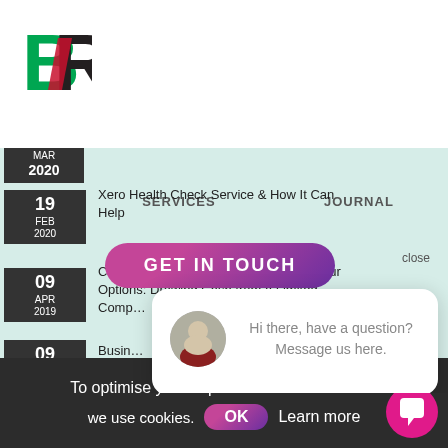[Figure (logo): BR logo with green B and red/dark R letterforms]
[Figure (screenshot): Website screenshot showing a journal listing page with date badges (MAR 2020, 19 FEB 2020, 09 APR 2019 twice) and article titles. Overlaid with a GET IN TOUCH button, close link, and a chat popup widget. Navigation shows SERVICES and JOURNAL labels.]
SERVICES   JOURNAL
Xero Health Check Service & How It Can Help
GET IN TOUCH
close
Checking the health of your business Your Options: Drawing Cash from a Limited Comp…
Busin…
Why…
Hi there, have a question? Message us here.
To optimise your experience on our website we use cookies.
OK
Learn more